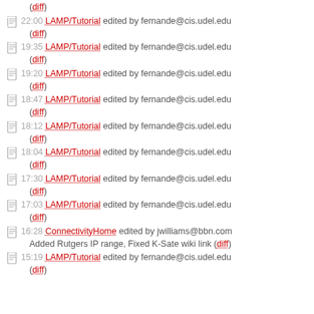(diff)
22:00 LAMP/Tutorial edited by fernande@cis.udel.edu (diff)
19:35 LAMP/Tutorial edited by fernande@cis.udel.edu (diff)
19:20 LAMP/Tutorial edited by fernande@cis.udel.edu (diff)
18:47 LAMP/Tutorial edited by fernande@cis.udel.edu (diff)
18:12 LAMP/Tutorial edited by fernande@cis.udel.edu (diff)
18:04 LAMP/Tutorial edited by fernande@cis.udel.edu (diff)
17:30 LAMP/Tutorial edited by fernande@cis.udel.edu (diff)
17:03 LAMP/Tutorial edited by fernande@cis.udel.edu (diff)
16:28 ConnectivityHome edited by jwilliams@bbn.com Added Rutgers IP range, Fixed K-Sate wiki link (diff)
15:19 LAMP/Tutorial edited by fernande@cis.udel.edu (diff)